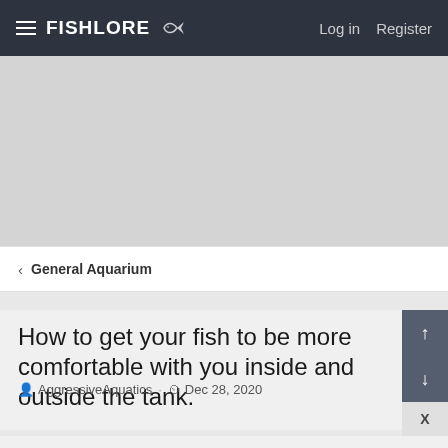FishLore — Log in  Register
[Figure (other): Gray advertisement area placeholder]
< General Aquarium
How to get your fish to be more comfortable with you inside and outside the tank.
AggressiveAquatics · Dec 28, 2020